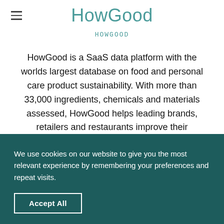HowGood
[Figure (logo): HowGood logo text in teal monospace lettering]
HowGood is a SaaS data platform with the worlds largest database on food and personal care product sustainability. With more than 33,000 ingredients, chemicals and materials assessed, HowGood helps leading brands, retailers and restaurants improve their environmental and social impact.
We use cookies on our website to give you the most relevant experience by remembering your preferences and repeat visits.
Accept All